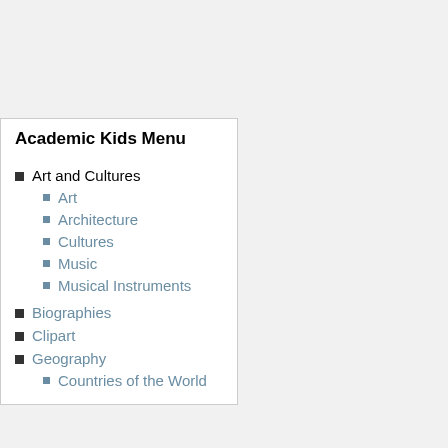Academic Kids Menu
Art and Cultures
Art
Architecture
Cultures
Music
Musical Instruments
Biographies
Clipart
Geography
Countries of the World